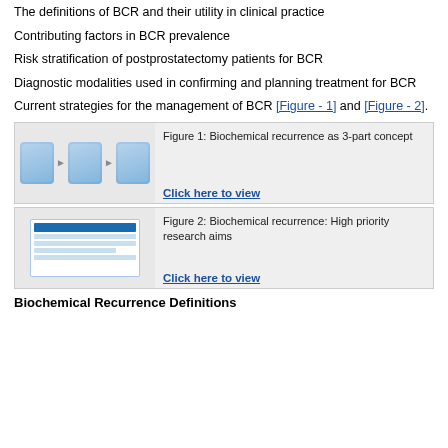The definitions of BCR and their utility in clinical practice
Contributing factors in BCR prevalence
Risk stratification of postprostatectomy patients for BCR
Diagnostic modalities used in confirming and planning treatment for BCR
Current strategies for the management of BCR [Figure - 1] and [Figure - 2].
[Figure (illustration): Thumbnail image of three blue rounded rectangle boxes connected by arrows, representing Figure 1]
Figure 1: Biochemical recurrence as 3-part concept
[Figure (illustration): Thumbnail of a table/list with blue header bar and text rows, representing Figure 2]
Figure 2: Biochemical recurrence: High priority research aims
Biochemical Recurrence Definitions